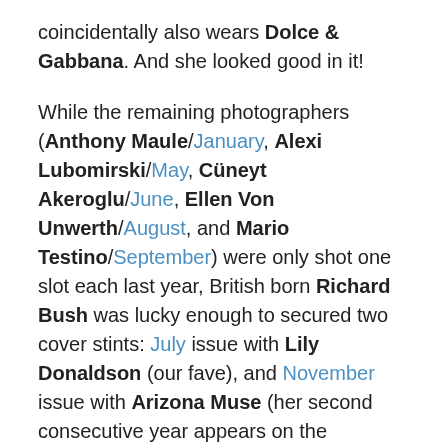coincidentally also wears Dolce & Gabbana. And she looked good in it!
While the remaining photographers (Anthony Maule/January, Alexi Lubomirski/May, Cüneyt Akeroglu/June, Ellen Von Unwerth/August, and Mario Testino/September) were only shot one slot each last year, British born Richard Bush was lucky enough to secured two cover stints: July issue with Lily Donaldson (our fave), and November issue with Arizona Muse (her second consecutive year appears on the magazine's front image).
The magazine already released their January issue with Lara Stone, and the editor in chief, Victoria Davydova, continues to work with Hedi Slimane as photographer. Yeah, she likes him that much because she gave him his